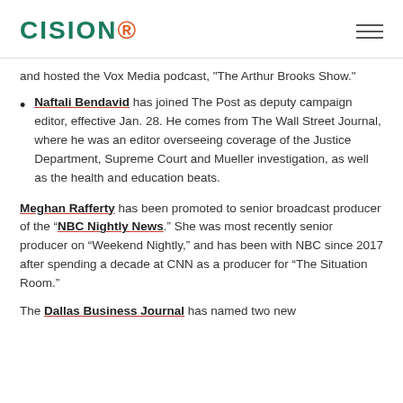CISION
and hosted the Vox Media podcast, "The Arthur Brooks Show."
Naftali Bendavid has joined The Post as deputy campaign editor, effective Jan. 28. He comes from The Wall Street Journal, where he was an editor overseeing coverage of the Justice Department, Supreme Court and Mueller investigation, as well as the health and education beats.
Meghan Rafferty has been promoted to senior broadcast producer of the “NBC Nightly News.” She was most recently senior producer on “Weekend Nightly,” and has been with NBC since 2017 after spending a decade at CNN as a producer for “The Situation Room.”
The Dallas Business Journal has named two new